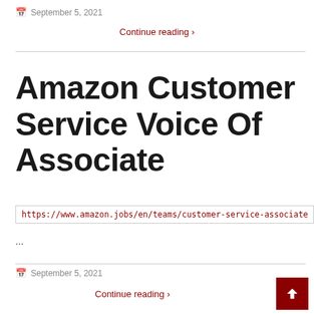September 5, 2021
Continue reading >
Amazon Customer Service Voice Of Associate
https://www.amazon.jobs/en/teams/customer-service-associate
...
September 5, 2021
Continue reading >